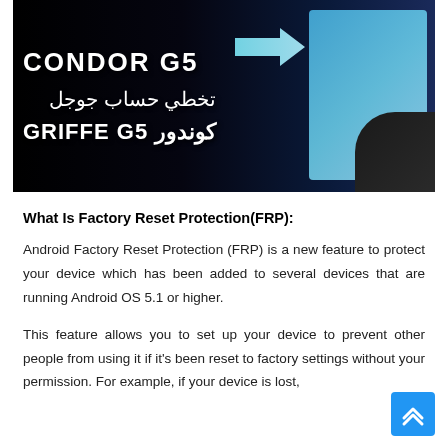[Figure (photo): Dark background image showing text 'CONDOR G5' in bold white, Arabic text for 'bypass Google account', and 'GRIFFE G5' in bold white. A cyan arrow points right toward a smartphone screen showing a blue interface.]
What Is Factory Reset Protection(FRP):
Android Factory Reset Protection (FRP) is a new feature to protect your device which has been added to several devices that are running Android OS 5.1 or higher.
This feature allows you to set up your device to prevent other people from using it if it's been reset to factory settings without your permission. For example, if your device is lost,